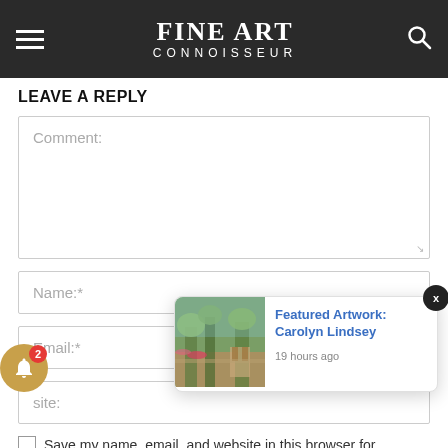FINE ART CONNOISSEUR
LEAVE A REPLY
Comment:
Name:*
Email:*
site:
[Figure (screenshot): Notification popup with thumbnail of an artwork (outdoor garden/street scene painting) and text 'Featured Artwork: Carolyn Lindsey' with timestamp '19 hours ago']
Save my name, email, and website in this browser for